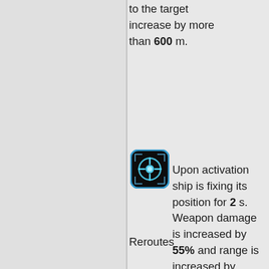to the target increase by more than 600 m.
[Figure (illustration): A game icon showing a blue glowing crosshair/targeting reticle on a dark octagonal background with a blue border]
Upon activation ship is fixing its position for 2 s. Weapon damage is increased by 55% and range is increased by 10%.
120 en.
Reroutes